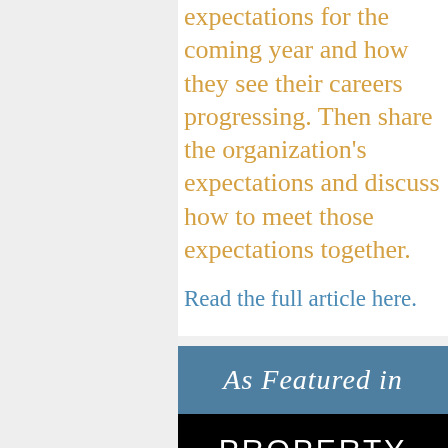expectations for the coming year and how they see their careers progressing. Then share the organization's expectations and discuss how to meet those expectations together.
Read the full article here.
[Figure (other): As Featured in Property Casualty 360 badge. Top section is steel blue with cursive script 'As Featured in', bottom section is black with white block letter text 'PROPERTY CASUALTY 360°'.]